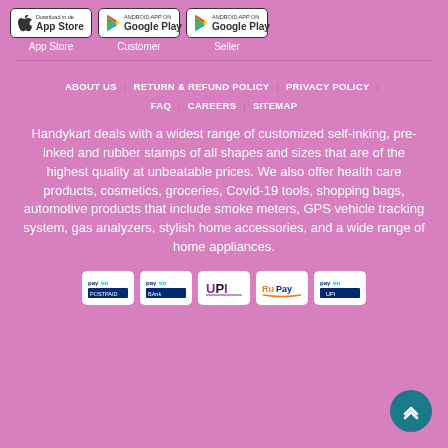[Figure (logo): Three app store badges: App Store (Apple), Google Play (Customer), Google Play (Seller) with labels below]
ABOUT US | RETURN & REFUND POLICY | PRIVACY POLICY | FAQ | CAREERS | SITEMAP
Handykart deals with a widest range of customized self-inking, pre-inked and rubber stamps of all shapes and sizes that are of the highest quality at unbeatable prices. We also offer health care products, cosmetics, groceries, Covid-19 tools, shopping bags, automotive products that include smoke meters, GPS vehicle tracking system, gas analyzers, stylish home accessories, and a wide range of home appliances.
[Figure (logo): Payment method logos: Paytm, Paytm Bank, UPI, RuPay, Paytm UPI]